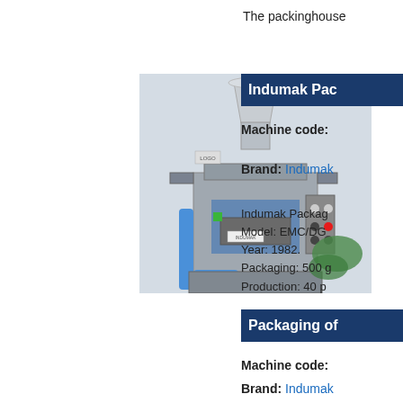The packinghouse
Indumak Pac
Machine code:
Brand: Indumak
Indumak Packaging
Model: EMC/DG
Year: 1982.
Packaging: 500 g
Production: 40 p
[Figure (photo): Photograph of an Indumak packaging machine, model EMC/DG, year 1982. The machine is a vertical form-fill-seal packaging machine with a stainless steel funnel on top and blue mechanical components.]
Packaging of
Machine code:
Brand: Indumak
Sugar packaging